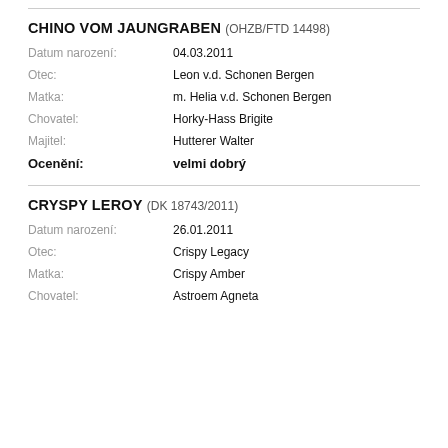CHINO VOM JAUNGRABEN (OHZB/FTD 14498)
Datum narození: 04.03.2011
Otec: Leon v.d. Schonen Bergen
Matka: m. Helia v.d. Schonen Bergen
Chovatel: Horky-Hass Brigite
Majitel: Hutterer Walter
Ocenění: velmi dobrý
CRYSPY LEROY (DK 18743/2011)
Datum narození: 26.01.2011
Otec: Crispy Legacy
Matka: Crispy Amber
Chovatel: Astroem Agneta